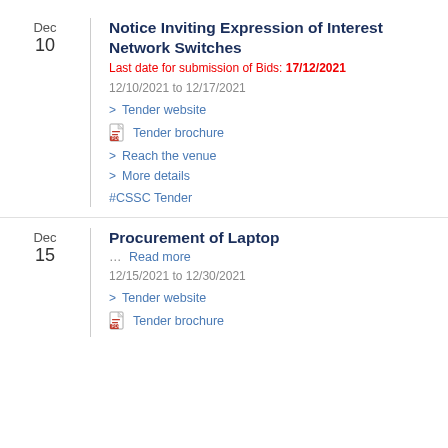Notice Inviting Expression of Interest Network Switches
Last date for submission of Bids: 17/12/2021
12/10/2021 to 12/17/2021
Tender website
Tender brochure
Reach the venue
More details
#CSSC Tender
Procurement of Laptop
... Read more
12/15/2021 to 12/30/2021
Tender website
Tender brochure